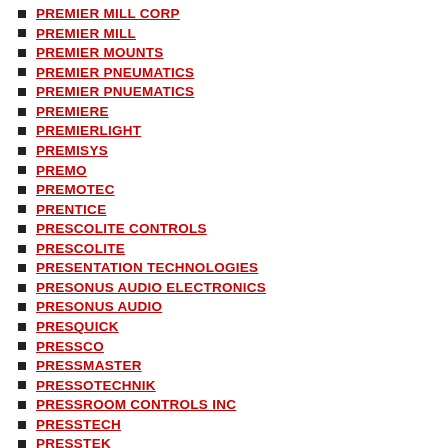PREMIER MILL CORP
PREMIER MILL
PREMIER MOUNTS
PREMIER PNEUMATICS
PREMIER PNUEMATICS
PREMIERE
PREMIERLIGHT
PREMISYS
PREMO
PREMOTEC
PRENTICE
PRESCOLITE CONTROLS
PRESCOLITE
PRESENTATION TECHNOLOGIES
PRESONUS AUDIO ELECTRONICS
PRESONUS AUDIO
PRESQUICK
PRESSCO
PRESSMASTER
PRESSOTECHNIK
PRESSROOM CONTROLS INC
PRESSTECH
PRESSTEK
PRESSURE DEVICE
PRESSURE PRODUCTS